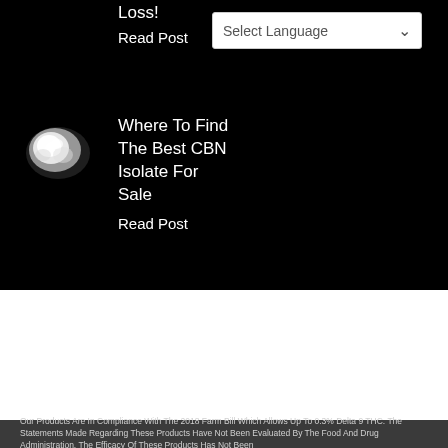Loss!
Read Post
Select Language
[Figure (photo): White powdery substance (CBN isolate) on dark background]
Where To Find The Best CBN Isolate For Sale
Read Post
Our Products Are In Compliance With The 2018 Farm Bill Which Allows Up To 0.3% Delta 9 THC. The Statements Made Regarding These Products Have Not Been Evaluated By The Food And Drug Administration. The Efficacy Of These Products Has Not Been